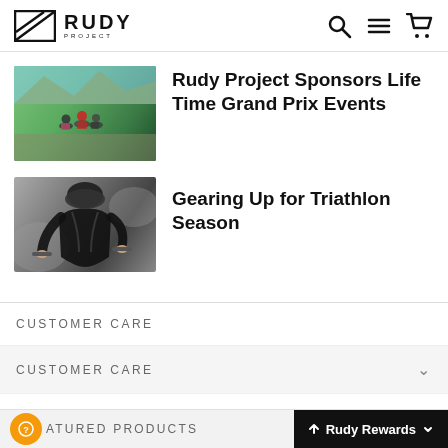RUDY PROJECT
[Figure (photo): Two cyclists riding on a mountain road with green hills in the background]
Rudy Project Sponsors Life Time Grand Prix Events
[Figure (photo): A cyclist in black jersey and helmet riding in an aggressive position]
Gearing Up for Triathlon Season
CUSTOMER CARE
CUSTOMER CARE
FEATURED PRODUCTS
ATURED PRODUCTS
Rudy Rewards